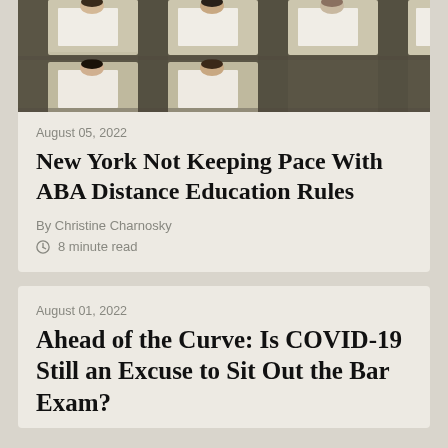[Figure (photo): Overhead view of students sitting at individual desks writing an exam in a large hall]
August 05, 2022
New York Not Keeping Pace With ABA Distance Education Rules
By Christine Charnosky
8 minute read
August 01, 2022
Ahead of the Curve: Is COVID-19 Still an Excuse to Sit Out the Bar Exam?